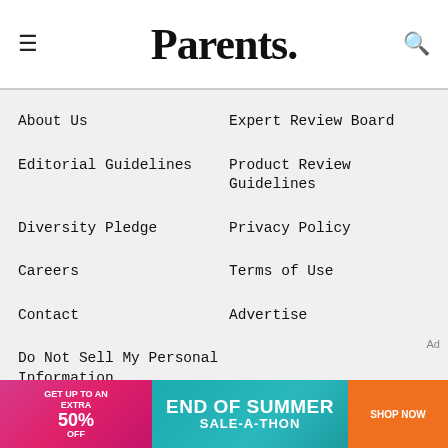Parents.
About Us
Expert Review Board
Editorial Guidelines
Product Review Guidelines
Diversity Pledge
Privacy Policy
Careers
Terms of Use
Contact
Advertise
Do Not Sell My Personal Information
[Figure (logo): Dotdash Meredith logo with orange D circle and colorful meredith icon]
Parents is part of the Dotdash Meredith publishing family
[Figure (infographic): Advertisement banner: GET UP TO AN EXTRA 50% OFF — END OF SUMMER SALE-A-THON — SHOP NOW]